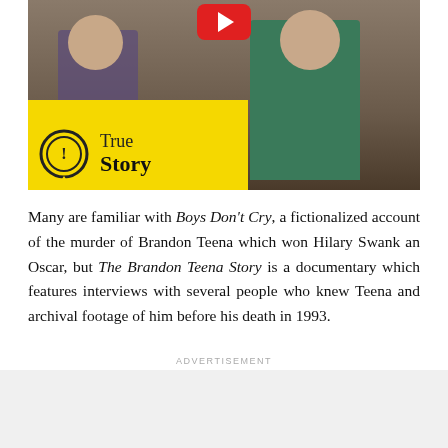[Figure (photo): Video thumbnail showing people in a photo with a yellow True Story badge overlay in the bottom left featuring a circular icon with exclamation mark, and a red YouTube play button at the top center.]
Many are familiar with Boys Don't Cry, a fictionalized account of the murder of Brandon Teena which won Hilary Swank an Oscar, but The Brandon Teena Story is a documentary which features interviews with several people who knew Teena and archival footage of him before his death in 1993.
ADVERTISEMENT